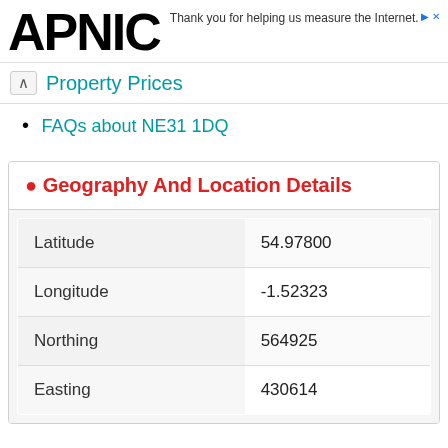APNIC — Thank you for helping us measure the Internet.
Property Prices
FAQs about NE31 1DQ
|  |  |
| --- | --- |
| Latitude | 54.97800 |
| Longitude | -1.52323 |
| Northing | 564925 |
| Easting | 430614 |